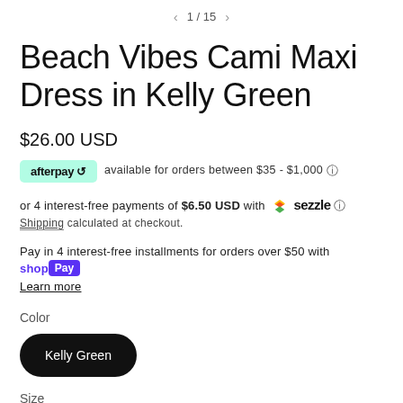1/15
Beach Vibes Cami Maxi Dress in Kelly Green
$26.00 USD
afterpay available for orders between $35 - $1,000 ℹ
or 4 interest-free payments of $6.50 USD with Sezzle ℹ
Shipping calculated at checkout.
Pay in 4 interest-free installments for orders over $50 with Shop Pay
Learn more
Color
Kelly Green
Size